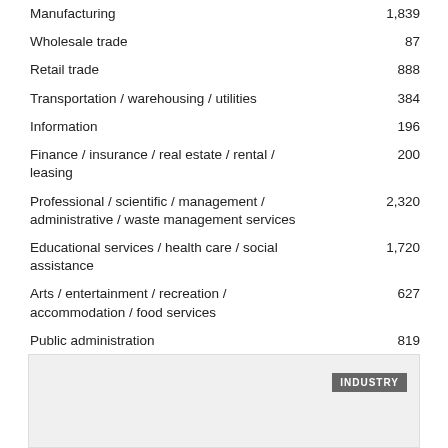| Industry | Value |
| --- | --- |
| Manufacturing | 1,839 |
| Wholesale trade | 87 |
| Retail trade | 888 |
| Transportation / warehousing / utilities | 384 |
| Information | 196 |
| Finance / insurance / real estate / rental / leasing | 200 |
| Professional / scientific / management / administrative / waste management services | 2,320 |
| Educational services / health care / social assistance | 1,720 |
| Arts / entertainment / recreation / accommodation / food services | 627 |
| Public administration | 819 |
| Other services | 357 |
[Figure (other): Gray footer box with dark gray 'INDUSTRY' label in top-right corner]